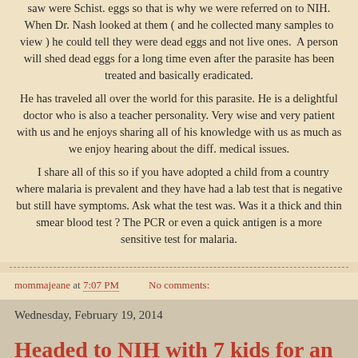saw were Schist. eggs so that is why we were referred on to NIH. When Dr. Nash looked at them ( and he collected many samples to view ) he could tell they were dead eggs and not live ones. A person will shed dead eggs for a long time even after the parasite has been treated and basically eradicated. He has traveled all over the world for this parasite. He is a delightful doctor who is also a teacher personality. Very wise and very patient with us and he enjoys sharing all of his knowledge with us as much as we enjoy hearing about the diff. medical issues.
I share all of this so if you have adopted a child from a country where malaria is prevalent and they have had a lab test that is negative but still have symptoms. Ask what the test was. Was it a thick and thin smear blood test ? The PCR or even a quick antigen is a more sensitive test for malaria.
mommajeane at 7:07 PM   No comments:
Wednesday, February 19, 2014
Headed to NIH with 7 kids for an all day